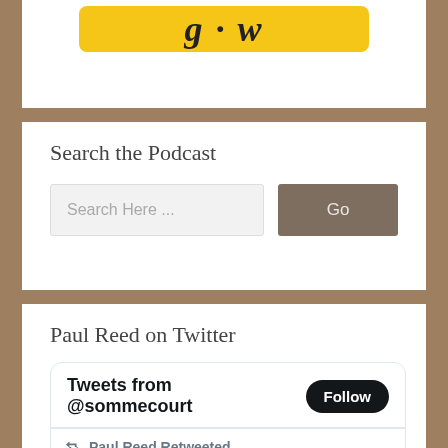[Figure (screenshot): Partial yellow banner with decorative italic text, cut off at top of page]
Search the Podcast
[Figure (screenshot): Search input box with placeholder text 'Search Here ...' and a 'Go' button]
Paul Reed on Twitter
[Figure (screenshot): Twitter widget showing 'Tweets from @sommecourt' with Follow button, Paul Reed Retweeted label, Dr Victoria L. H... @drtohu... 1h replying to @drtorhumphreys: stream of gibberish, an agent could pick out the one phrase that meant an]